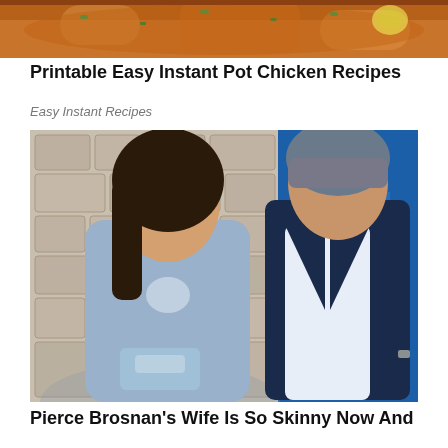[Figure (photo): Food photo showing glazed chicken dish with green garnish and lemon on a white plate, cropped at top of page]
Printable Easy Instant Pot Chicken Recipes
Easy Instant Recipes
[Figure (photo): Couple at formal event: woman in light blue lace gown holding silver clutch, man in navy suit, standing in front of stone wall with blue letter A backdrop]
Pierce Brosnan's Wife Is So Skinny Now And